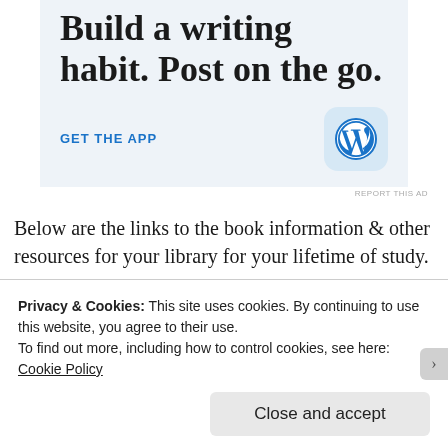[Figure (illustration): WordPress app advertisement with light blue background. Large serif text reads 'Build a writing habit. Post on the go.' with a blue 'GET THE APP' call-to-action link and WordPress logo icon in the bottom right.]
REPORT THIS AD
Below are the links to the book information & other resources for your library for your lifetime of study.
Privacy & Cookies: This site uses cookies. By continuing to use this website, you agree to their use.
To find out more, including how to control cookies, see here: Cookie Policy
Close and accept